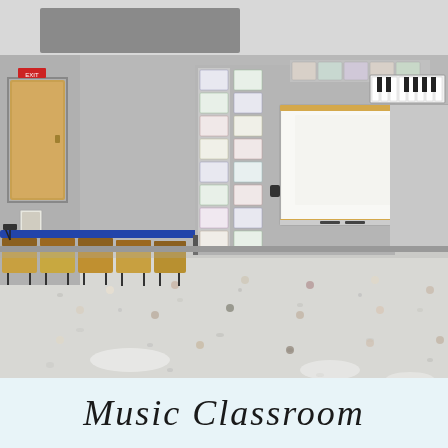[Figure (photo): Interior photo of a music classroom with a shiny speckled tile floor, gray walls, a whiteboard on the right wall, colorful educational posters and charts on the back wall, rows of yellow/wooden instrument cases or chairs on the left side, a piano keyboard poster near the top right, colored dot markers on the floor, and a door visible on the upper left.]
Music Classroom